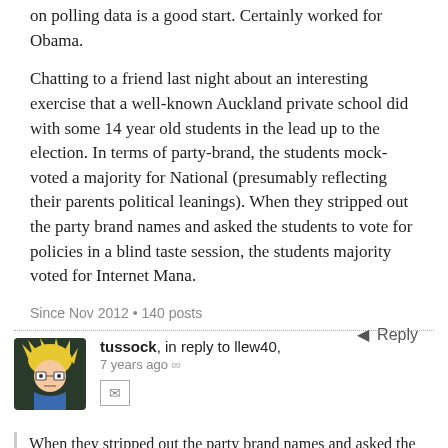on polling data is a good start. Certainly worked for Obama.
Chatting to a friend last night about an interesting exercise that a well-known Auckland private school did with some 14 year old students in the lead up to the election. In terms of party-brand, the students mock-voted a majority for National (presumably reflecting their parents political leanings). When they stripped out the party brand names and asked the students to vote for policies in a blind taste session, the students majority voted for Internet Mana.
Since Nov 2012 • 140 posts
Reply
tussock, in reply to llew40, 7 years ago
When they stripped out the party brand names and asked the students to vote for policies in a blind taste session, the students majority voted for Internet Mana.